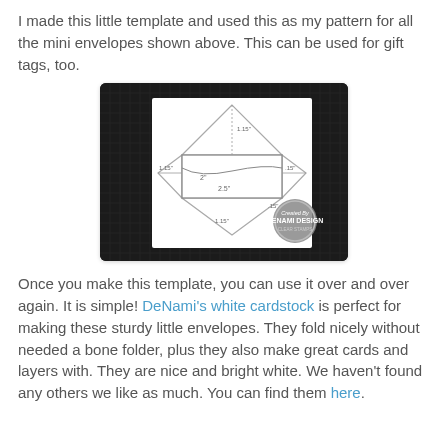I made this little template and used this as my pattern for all the mini envelopes shown above. This can be used for gift tags, too.
[Figure (photo): A hand-drawn envelope template on white paper placed on a dark grid cutting mat. The template shows a diamond/cross-shaped pattern with dimensions labeled (approximately 1.15", 2", 2.5", .15"). A DeNami Design logo stamp is visible in the lower right corner.]
Once you make this template, you can use it over and over again. It is simple! DeNami's white cardstock is perfect for making these sturdy little envelopes. They fold nicely without needed a bone folder, plus they also make great cards and layers with. They are nice and bright white. We haven't found any others we like as much. You can find them here.